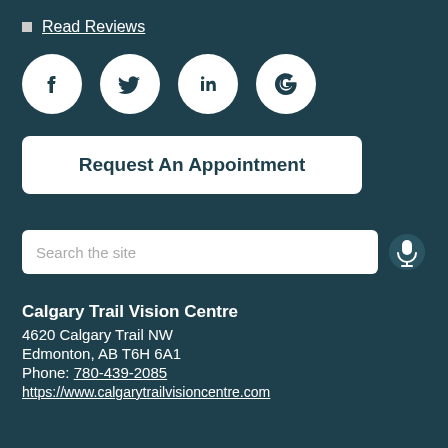Read Reviews
[Figure (illustration): Four social media icons (Facebook, Twitter, LinkedIn, Google) as white circles on dark teal background]
Request An Appointment
[Figure (illustration): Search bar with placeholder text 'Search the site' and a microphone icon]
Calgary Trail Vision Centre
4620 Calgary Trail NW
Edmonton, AB T6H 6A1
Phone: 780-439-2085
https://www.calgarytrailvisioncentre.com